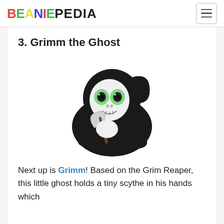BEANIEPEDIA
3. Grimm the Ghost
[Figure (photo): A Ty Beanie Boo plush toy called Grimm the Ghost — a small black stuffed animal dressed as the Grim Reaper with a white skull face, large green glittery eyes, and holding a tiny scythe.]
Next up is Grimm! Based on the Grim Reaper, this little ghost holds a tiny scythe in his hands which